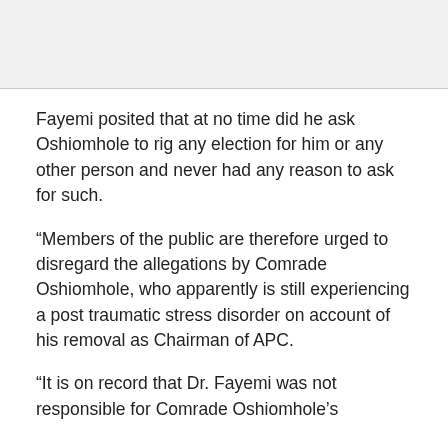[Figure (photo): Gray image placeholder area at the top of the page]
Fayemi posited that at no time did he ask Oshiomhole to rig any election for him or any other person and never had any reason to ask for such.
“Members of the public are therefore urged to disregard the allegations by Comrade Oshiomhole, who apparently is still experiencing a post traumatic stress disorder on account of his removal as Chairman of APC.
“It is on record that Dr. Fayemi was not responsible for Comrade Oshiomhole’s